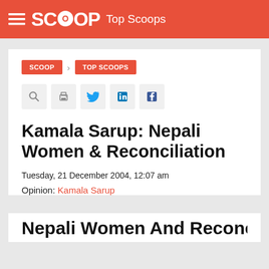SCOOP  Top Scoops
SCOOP > TOP SCOOPS
[Figure (infographic): Social sharing icons row: search, print, Twitter, LinkedIn, Facebook]
Kamala Sarup: Nepali Women & Reconciliation
Tuesday, 21 December 2004, 12:07 am
Opinion: Kamala Sarup
Nepali Women And Reconciliatio